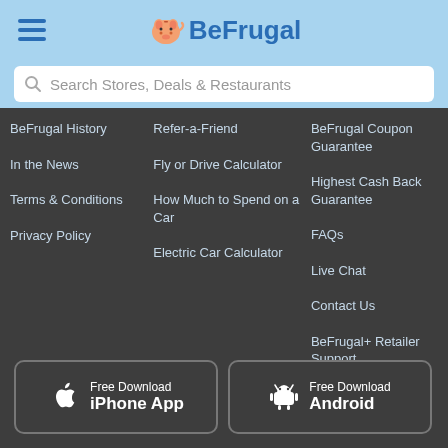BeFrugal
Search Stores, Deals & Restaurants
BeFrugal History
In the News
Terms & Conditions
Privacy Policy
Refer-a-Friend
Fly or Drive Calculator
How Much to Spend on a Car
Electric Car Calculator
BeFrugal Coupon Guarantee
Highest Cash Back Guarantee
FAQs
Live Chat
Contact Us
BeFrugal+ Retailer Support
Free Download iPhone App
Free Download Android